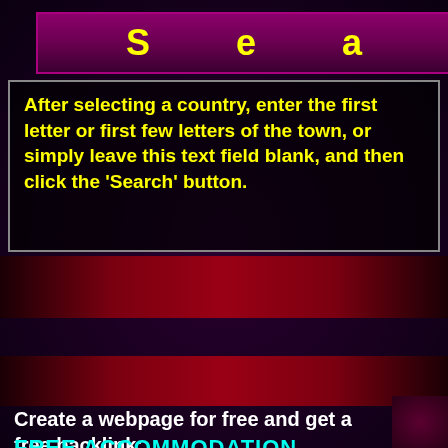S e a r c h
After selecting a country, enter the first letter or first few letters of the town, or simply leave this text field blank, and then click the 'Search' button.
[Figure (screenshot): Google enhanced search bar with blue search button]
Create a webpage for free and get a free backlink:
FREE ACCOMMODATION RENTAL WEBSITE BUILDER AT